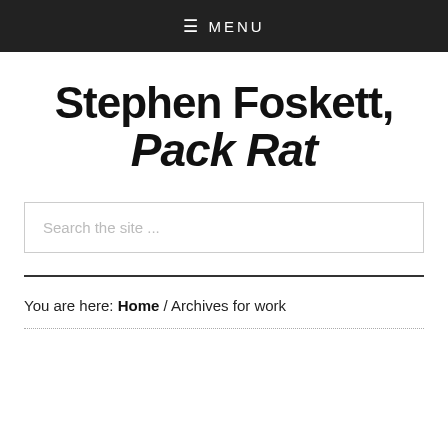≡ MENU
Stephen Foskett, Pack Rat
Search the site ...
You are here: Home / Archives for work